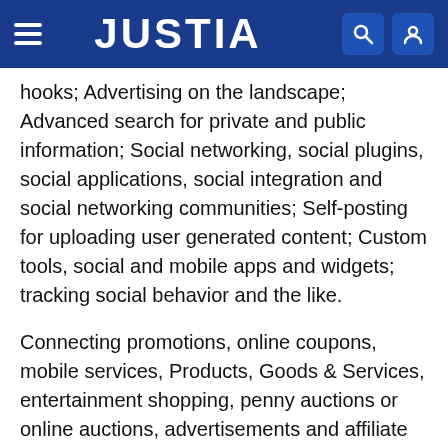JUSTIA
hooks; Advertising on the landscape; Advanced search for private and public information; Social networking, social plugins, social applications, social integration and social networking communities; Self-posting for uploading user generated content; Custom tools, social and mobile apps and widgets; tracking social behavior and the like.
Connecting promotions, online coupons, mobile services, Products, Goods & Services, entertainment shopping, penny auctions or online auctions, advertisements and affiliate advertising with users and members known as “Social Shoppers” in real-time on a geographical area across multiple social layers that are displayed as graphic animated color overlays on a three dimensional geospatial platform using geospatial mapping technology. More specifically, it relates to a